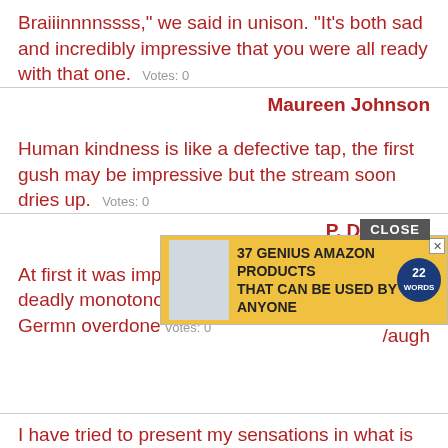Braiiinnnnssss," we said in unison. "It's both sad and incredibly impressive that you were all ready with that one. Votes: 0
Maureen Johnson
Human kindness is like a defective tap, the first gush may be impressive but the stream soon dries up. Votes: 0
P. D. James
At first it was impressive, but after half and hour deadly monotonous. It was like everything Germ... overdone. Votes: 0
[Figure (screenshot): Advertisement overlay: CLOSE button and banner ad reading '37 GENIUS AMAZON PRODUCTS THAT CAN BE USED BY ANYONE' with a yellow background and product bottle image]
/augh
I have tried to present my sensations in what is